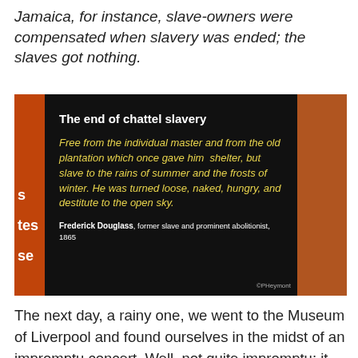Jamaica, for instance, slave-owners were compensated when slavery was ended; the slaves got nothing.
[Figure (photo): A museum exhibit display panel with black background showing the title 'The end of chattel slavery' in white bold text and a yellow italic quote by Frederick Douglass from 1865 reading 'Free from the individual master and from the old plantation which once gave him shelter, but slave to the rains of summer and the frosts of winter. He was turned loose, naked, hungry, and destitute to the open sky.' with orange side panels and a watermark reading ©PHeymont]
The next day, a rainy one, we went to the Museum of Liverpool and found ourselves in the midst of an impromptu concert. Well, not quite impromptu: it had